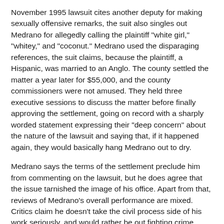November 1995 lawsuit cites another deputy for making sexually offensive remarks, the suit also singles out Medrano for allegedly calling the plaintiff "white girl," "whitey," and "coconut." Medrano used the disparaging references, the suit claims, because the plaintiff, a Hispanic, was married to an Anglo. The county settled the matter a year later for $55,000, and the county commissioners were not amused. They held three executive sessions to discuss the matter before finally approving the settlement, going on record with a sharply worded statement expressing their "deep concern" about the nature of the lawsuit and saying that, if it happened again, they would basically hang Medrano out to dry.
Medrano says the terms of the settlement preclude him from commenting on the lawsuit, but he does agree that the issue tarnished the image of his office. Apart from that, reviews of Medrano's overall performance are mixed. Critics claim he doesn't take the civil process side of his work seriously, and would rather be out fighting crime alongside police and sheriff's deputies.
Canchola, who has received the majority of endorsements from Democratic clubs and police and sheriff PACs, acknowledges that her style is "totally different" from Medrano's. Moreover, the Austin Women's Political Caucus has contributed $500 to Canchola's campaign, which is a fairly large contribution from a notable